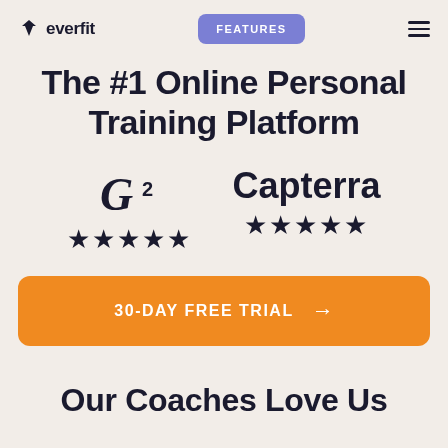everfit | FEATURES
The #1 Online Personal Training Platform
[Figure (logo): G2 logo with superscript 2 and 5 stars rating]
[Figure (logo): Capterra logo with 5 stars rating]
30-DAY FREE TRIAL →
Our Coaches Love Us